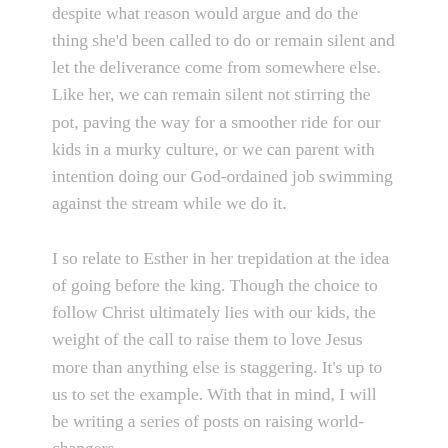despite what reason would argue and do the thing she'd been called to do or remain silent and let the deliverance come from somewhere else. Like her, we can remain silent not stirring the pot, paving the way for a smoother ride for our kids in a murky culture, or we can parent with intention doing our God-ordained job swimming against the stream while we do it.
I so relate to Esther in her trepidation at the idea of going before the king. Though the choice to follow Christ ultimately lies with our kids, the weight of the call to raise them to love Jesus more than anything else is staggering. It's up to us to set the example. With that in mind, I will be writing a series of posts on raising world- changers.
At first I wondered if there was a book I could read to help me better understand this concept. Then I thought about who I could pattern this idea after. Then it hit me.